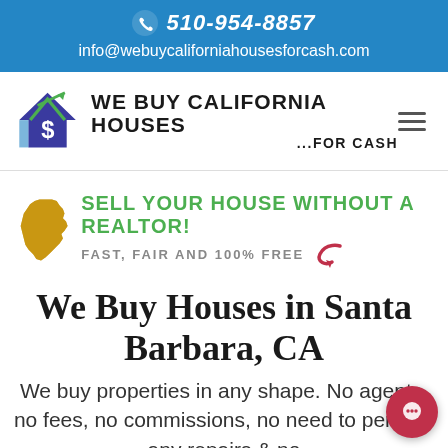510-954-8857 | info@webuycaliforniahousesforcash.com
[Figure (logo): We Buy California Houses For Cash logo with house and dollar sign icon]
[Figure (infographic): SELL YOUR HOUSE WITHOUT A REALTOR! FAST, FAIR AND 100% FREE with California state shape and red arrow]
We Buy Houses in Santa Barbara, CA
We buy properties in any shape. No agents, no fees, no commissions, no need to perform any repairs & no